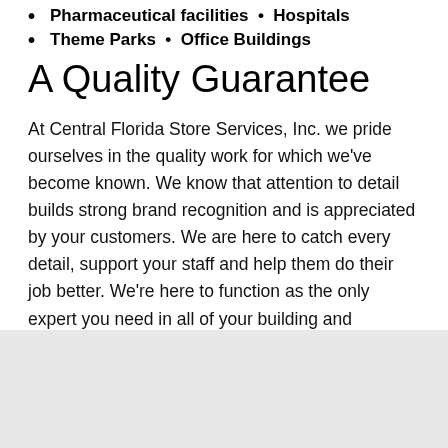Pharmaceutical facilities  •  Hospitals
Theme Parks  •  Office Buildings
A Quality Guarantee
At Central Florida Store Services, Inc. we pride ourselves in the quality work for which we've become known. We know that attention to detail builds strong brand recognition and is appreciated by your customers. We are here to catch every detail, support your staff and help them do their job better. We're here to function as the only expert you need in all of your building and equipment maintenance needs.